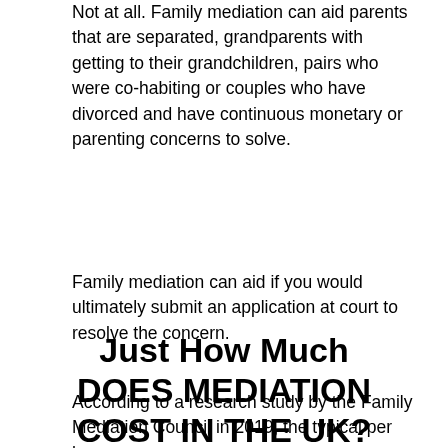Not at all. Family mediation can aid parents that are separated, grandparents with getting to their grandchildren, pairs who were co-habiting or couples who have divorced and have continuous monetary or parenting concerns to solve.
Family mediation can aid if you would ultimately submit an application at court to resolve the concern.
Just How Much DOES MEDIATION COST IN THE UK?
According to a research study by the Family Mediation Council in 2019, the typical per hour